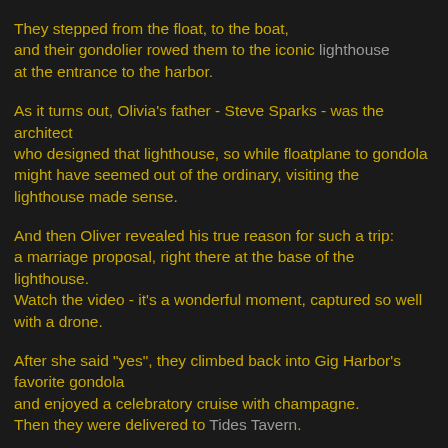They stepped from the float, to the boat, and their gondolier rowed them to the iconic lighthouse at the entrance to the harbor.
As it turns out, Olivia's father - Steve Sparks - was the architect who designed that lighthouse, so while floatplane to gondola might have seemed out of the ordinary, visiting the lighthouse made sense.
And then Oliver revealed his true reason for such a trip: a marriage proposal, right there at the base of the lighthouse. Watch the video - it's a wonderful moment, captured so well with a drone.
After she said "yes", they climbed back into Gig Harbor's favorite gondola and enjoyed a celebratory cruise with champagne. Then they were delivered to Tides Tavern.